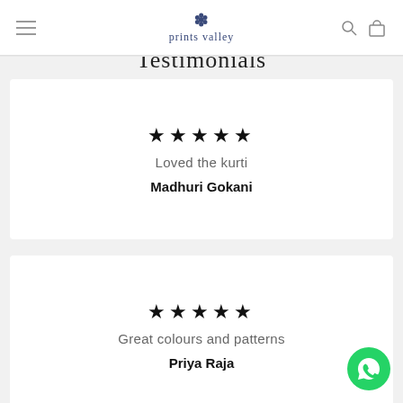prints valley
Testimonials
★★★★★
Loved the kurti
Madhuri Gokani
★★★★★
Great colours and patterns
Priya Raja